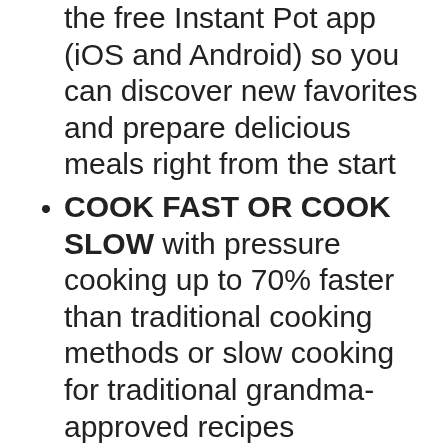the free Instant Pot app (iOS and Android) so you can discover new favorites and prepare delicious meals right from the start
COOK FAST OR COOK SLOW with pressure cooking up to 70% faster than traditional cooking methods or slow cooking for traditional grandma-approved recipes
SIMPLE, STRESS-FREE VENTING with an intuitive steam release switch that automatically resets when lid is closed